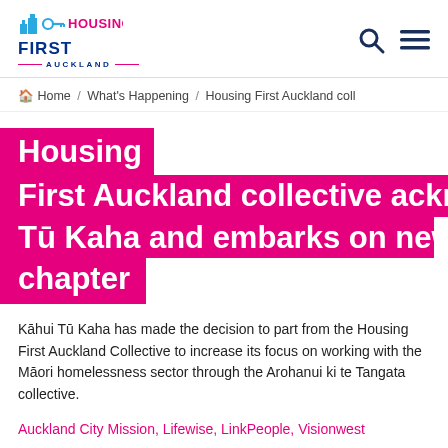[Figure (logo): Housing First Auckland logo with blue buildings/key icon, pink 'HOUSING' text, dark blue 'FIRST' text, and 'AUCKLAND' subtitle with pink lines]
[Figure (other): Search (magnifying glass) and menu (hamburger) icons in dark navy blue]
Home / What's Happening / Housing First Auckland coll
Housing First Auckland collective acknowledges Tū Kaha and embarks on new chapter
Kāhui Tū Kaha has made the decision to part from the Housing First Auckland Collective to increase its focus on working with the Māori homelessness sector through the Arohanui ki te Tangata collective.
Auckland City Mission, Lifewise, LinkPeople, Visionwest